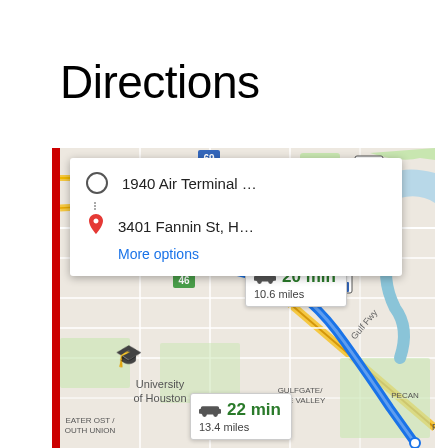Directions
[Figure (map): Google Maps screenshot showing driving directions from 1940 Air Terminal to 3401 Fannin St in Houston, TX. Two route options shown: 20 min / 10.6 miles and 22 min / 13.4 miles. Map shows University of Houston area, Gulf Freeway, Gulfgate/Pine Valley neighborhood. Blue highlighted route shown on map.]